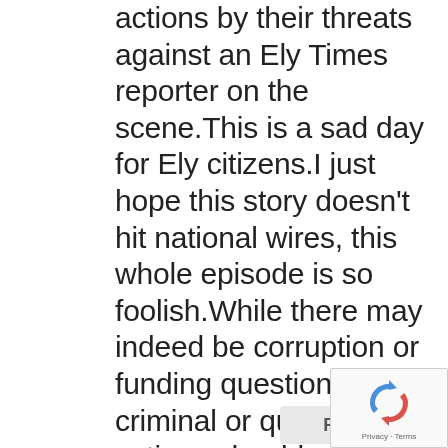actions by their threats against an Ely Times reporter on the scene.This is a sad day for Ely citizens.I just hope this story doesn't hit national wires, this whole episode is so foolish.While there may indeed be corruption or funding questions , criminal or questionable actions should not be used to aquire evidence.This type of activity makes the accusers appear in the same light as the accused.
REPLY
[Figure (other): Google reCAPTCHA badge with logo and Privacy - Terms text]